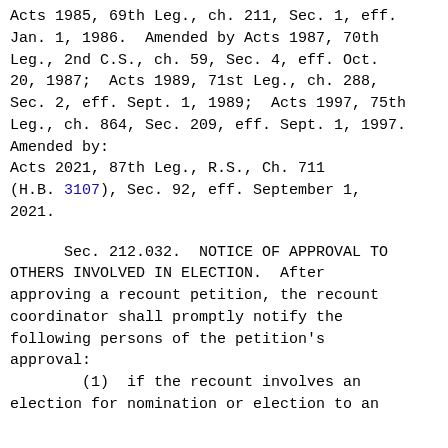Acts 1985, 69th Leg., ch. 211, Sec. 1, eff. Jan. 1, 1986.  Amended by Acts 1987, 70th Leg., 2nd C.S., ch. 59, Sec. 4, eff. Oct. 20, 1987;  Acts 1989, 71st Leg., ch. 288, Sec. 2, eff. Sept. 1, 1989;  Acts 1997, 75th Leg., ch. 864, Sec. 209, eff. Sept. 1, 1997. Amended by:
Acts 2021, 87th Leg., R.S., Ch. 711 (H.B. 3107), Sec. 92, eff. September 1, 2021.
Sec. 212.032.  NOTICE OF APPROVAL TO OTHERS INVOLVED IN ELECTION.  After approving a recount petition, the recount coordinator shall promptly notify the following persons of the petition's approval:
(1)  if the recount involves an election for nomination or election to an